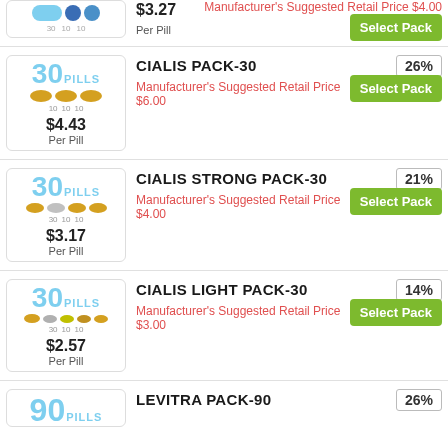[Figure (other): Partial product row at top: pill pack image with blue pills, price $3.27 Per Pill, MSRP $4.00, Select Pack button]
$3.27
Per Pill
Manufacturer's Suggested Retail Price $4.00
Select Pack
CIALIS PACK-30
Manufacturer's Suggested Retail Price $6.00
26%
Select Pack
$4.43
Per Pill
CIALIS STRONG PACK-30
Manufacturer's Suggested Retail Price $4.00
21%
Select Pack
$3.17
Per Pill
CIALIS LIGHT PACK-30
Manufacturer's Suggested Retail Price $3.00
14%
Select Pack
$2.57
Per Pill
LEVITRA PACK-90
26%